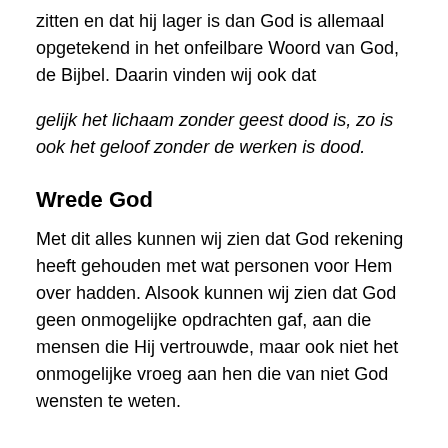zitten en dat hij lager is dan God is allemaal opgetekend in het onfeilbare Woord van God, de Bijbel. Daarin vinden wij ook dat
gelijk het lichaam zonder geest dood is, zo is ook het geloof zonder de werken is dood.
Wrede God
Met dit alles kunnen wij zien dat God rekening heeft gehouden met wat personen voor Hem over hadden. Alsook kunnen wij zien dat God geen onmogelijke opdrachten gaf, aan die mensen die Hij vertrouwde, maar ook niet het onmogelijke vroeg aan hen die van niet God wensten te weten.